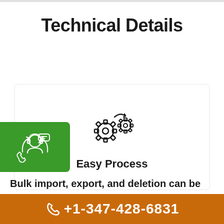Technical Details
[Figure (illustration): Gear/cog icons representing easy process workflow]
Easy Process
[Figure (illustration): Green circular badge with customer support/headset icon]
Bulk import, export, and deletion can be
+1-347-428-6831